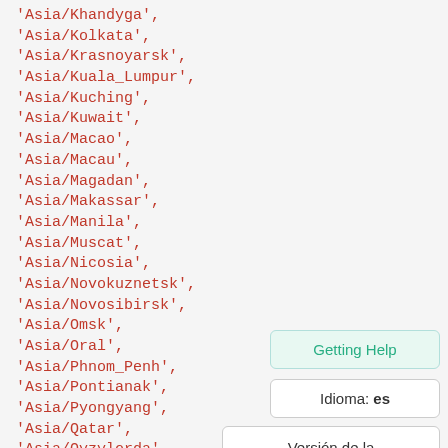'Asia/Khandyga',
'Asia/Kolkata',
'Asia/Krasnoyarsk',
'Asia/Kuala_Lumpur',
'Asia/Kuching',
'Asia/Kuwait',
'Asia/Macao',
'Asia/Macau',
'Asia/Magadan',
'Asia/Makassar',
'Asia/Manila',
'Asia/Muscat',
'Asia/Nicosia',
'Asia/Novokuznetsk',
'Asia/Novosibirsk',
'Asia/Omsk',
'Asia/Oral',
'Asia/Phnom_Penh',
'Asia/Pontianak',
'Asia/Pyongyang',
'Asia/Qatar',
'Asia/Qyzylorda',
Getting Help
Idioma: es
Versión de la documentación: 1.11